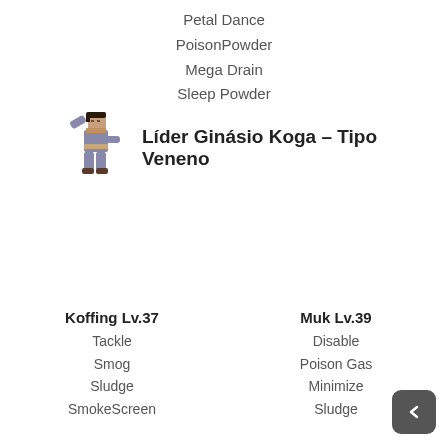Petal Dance
PoisonPowder
Mega Drain
Sleep Powder
Líder Ginásio Koga – Tipo Veneno
Koffing Lv.37
Tackle
Smog
Sludge
SmokeScreen
Muk Lv.39
Disable
Poison Gas
Minimize
Sludge